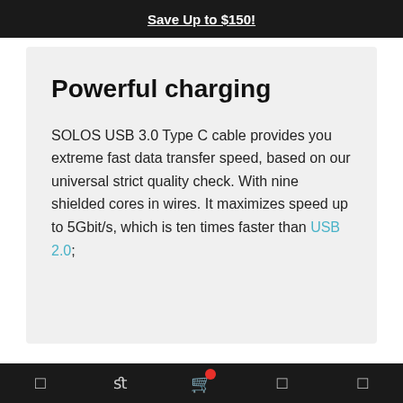Save Up to $150!
Powerful charging
SOLOS USB 3.0 Type C cable provides you extreme fast data transfer speed, based on our universal strict quality check. With nine shielded cores in wires. It maximizes speed up to 5Gbit/s, which is ten times faster than USB 2.0;
Navigation bar with cart icon